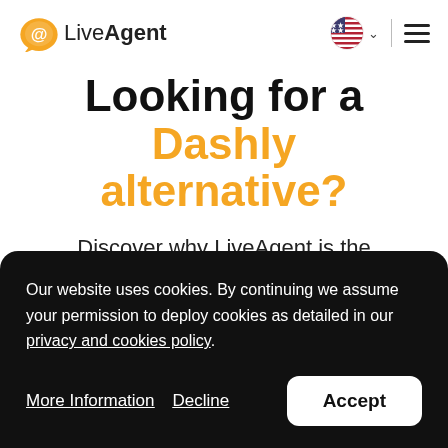LiveAgent
Looking for a Dashly alternative?
Discover why LiveAgent is the best Dashly alternative on the
Our website uses cookies. By continuing we assume your permission to deploy cookies as detailed in our privacy and cookies policy.
More Information   Decline   Accept